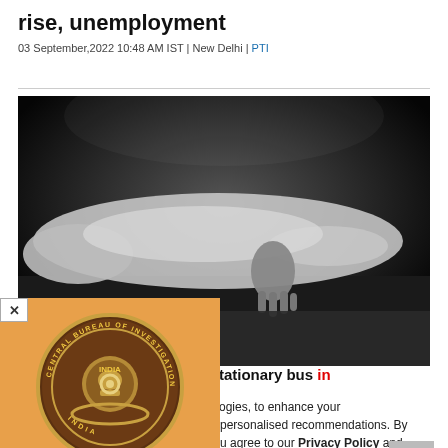rise, unemployment
03 September,2022 10:48 AM IST | New Delhi | PTI
[Figure (photo): Black and white photograph of a body covered with a white sheet lying on the ground, with one hand visible]
[Figure (logo): Central Bureau of Investigation (CBI) India logo on orange background — circular badge with gold emblem and text 'CENTRAL BUREAU OF INVESTIGATION INDIA']
k rams into stationary bus in
nilar technologies, to enhance your browsing experience and provide personalised recommendations. By continuing to use our website, you agree to our Privacy Policy and Cookie Policy.